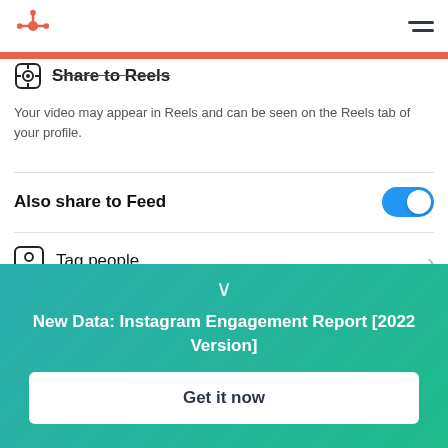HubSpot logo and navigation menu
[Figure (screenshot): Instagram Reels sharing options screen with Share to Reels header, description text, Also share to Feed toggle (on), Tag people menu item, Rename audio menu item showing Original audio]
Share to Reels
Your video may appear in Reels and can be seen on the Reels tab of your profile.
Also share to Feed
Tag people
Rename audio
Original audio
New Data: Instagram Engagement Report [2022 Version]
Get it now